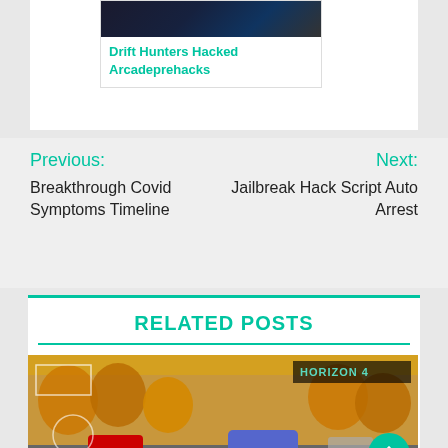[Figure (screenshot): Dark screenshot thumbnail for Drift Hunters Hacked Arcadeprehacks article]
Drift Hunters Hacked Arcadeprehacks
Previous:
Breakthrough Covid Symptoms Timeline
Next:
Jailbreak Hack Script Auto Arrest
RELATED POSTS
[Figure (screenshot): Forza Horizon 4 game screenshot showing cars racing on a road with autumn trees, with HORIZON 4 badge in top right corner]